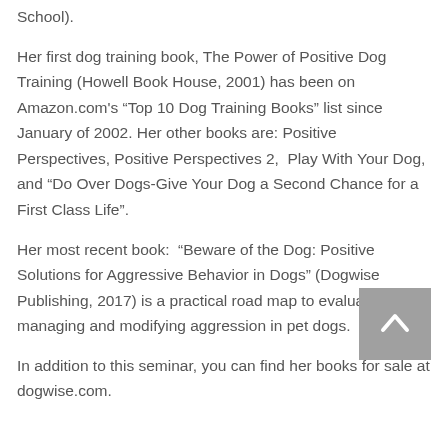School).
Her first dog training book, The Power of Positive Dog Training (Howell Book House, 2001) has been on Amazon.com's "Top 10 Dog Training Books" list since January of 2002. Her other books are: Positive Perspectives, Positive Perspectives 2,  Play With Your Dog, and "Do Over Dogs-Give Your Dog a Second Chance for a First Class Life".
Her most recent book:  "Beware of the Dog: Positive Solutions for Aggressive Behavior in Dogs" (Dogwise Publishing, 2017) is a practical road map to evaluating, managing and modifying aggression in pet dogs.
In addition to this seminar, you can find her books for sale at dogwise.com.